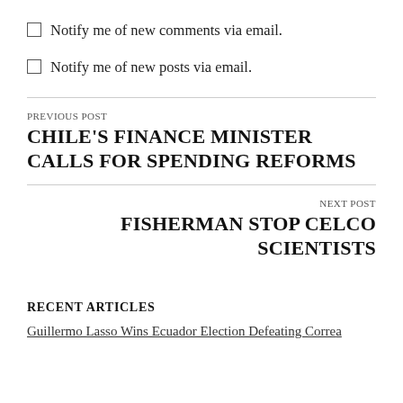Notify me of new comments via email.
Notify me of new posts via email.
PREVIOUS POST
CHILE'S FINANCE MINISTER CALLS FOR SPENDING REFORMS
NEXT POST
FISHERMAN STOP CELCO SCIENTISTS
RECENT ARTICLES
Guillermo Lasso Wins Ecuador Election Defeating Correa